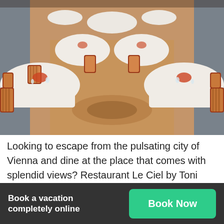[Figure (photo): Interior of an elegant fine dining restaurant with round tables covered in white tablecloths, striped upholstered wooden chairs, and warm lighting on a patterned floor.]
Looking to escape from the pulsating city of Vienna and dine at the place that comes with splendid views? Restaurant Le Ciel by Toni Mörwald is your best bet. Set on the seventh floor, the Michelin-starred restaurant is elegantly designed and the creative gourmet cuisine makes it extra special. Sincere to its name Le Ciel which means 'In heaven',
Book a vacation completely online   Book Now